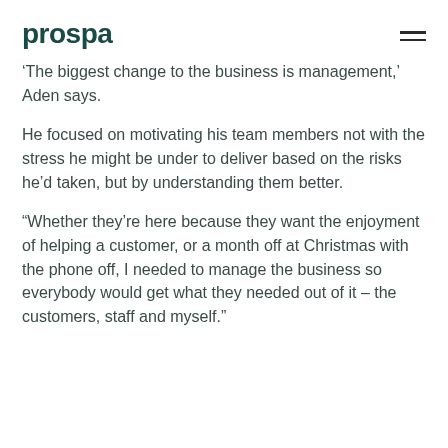prospa
'The biggest change to the business is management,' Aden says.
He focused on motivating his team members not with the stress he might be under to deliver based on the risks he'd taken, but by understanding them better.
“Whether they’re here because they want the enjoyment of helping a customer, or a month off at Christmas with the phone off, I needed to manage the business so everybody would get what they needed out of it – the customers, staff and myself.”